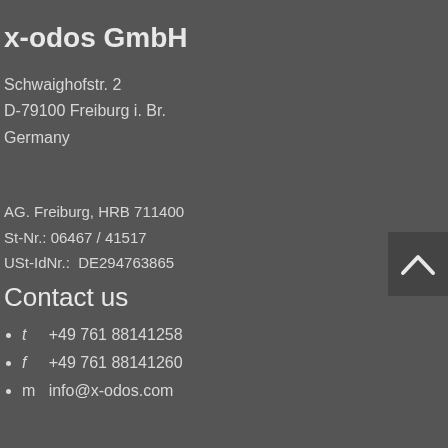x-odos GmbH
Schwaighofstr. 2
D-79100 Freiburg i. Br.
Germany
AG. Freiburg, HRB 711400
St-Nr.: 06467 / 41517
USt-IdNr.:  DE294763865
Contact us
t    +49 761 88141258
f    +49 761 88141260
m   info@x-odos.com